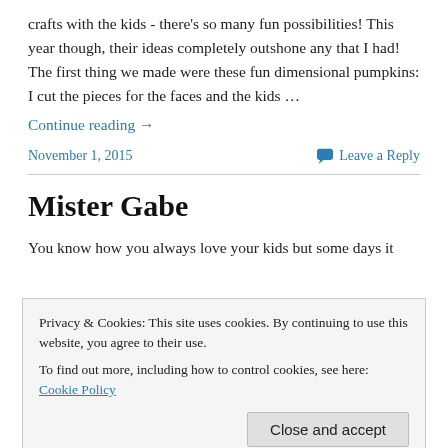crafts with the kids - there's so many fun possibilities! This year though, their ideas completely outshone any that I had! The first thing we made were these fun dimensional pumpkins: I cut the pieces for the faces and the kids …
Continue reading →
November 1, 2015
Leave a Reply
Mister Gabe
You know how you always love your kids but some days it
Privacy & Cookies: This site uses cookies. By continuing to use this website, you agree to their use.
To find out more, including how to control cookies, see here: Cookie Policy
Close and accept
December 17, 2014
5 Replies